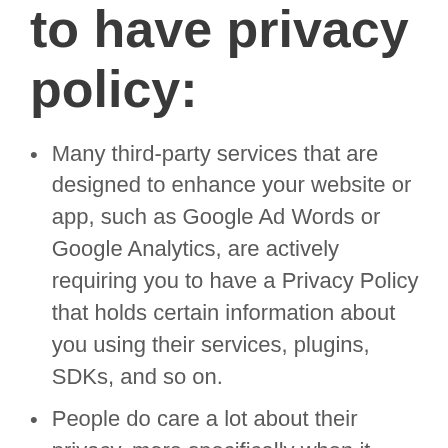to have privacy policy:
Many third-party services that are designed to enhance your website or app, such as Google Ad Words or Google Analytics, are actively requiring you to have a Privacy Policy that holds certain information about you using their services, plugins, SDKs, and so on.
People do care a lot about their privacy, more specifically when it comes to the use of their personal